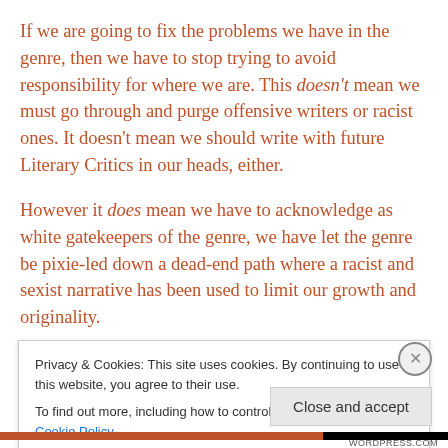If we are going to fix the problems we have in the genre, then we have to stop trying to avoid responsibility for where we are. This doesn't mean we must go through and purge offensive writers or racist ones. It doesn't mean we should write with future Literary Critics in our heads, either.

However it does mean we have to acknowledge as white gatekeepers of the genre, we have let the genre be pixie-led down a dead-end path where a racist and sexist narrative has been used to limit our growth and originality.
Privacy & Cookies: This site uses cookies. By continuing to use this website, you agree to their use.
To find out more, including how to control cookies, see here: Cookie Policy
Close and accept